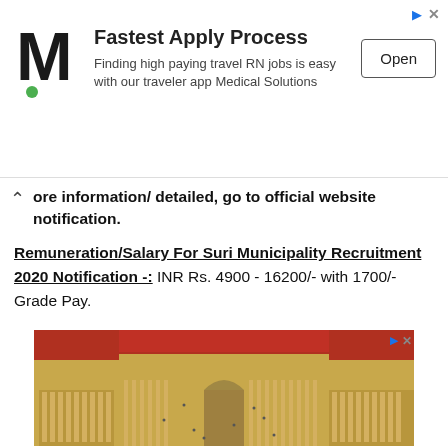[Figure (screenshot): Advertisement banner: M logo (Medical Solutions), text 'Fastest Apply Process – Finding high paying travel RN jobs is easy with our traveler app Medical Solutions', and an 'Open' button. Ad icons (arrow and X) in top right.]
…ore information/ detailed, go to official website notification.
Remuneration/Salary For Suri Municipality Recruitment 2020 Notification -: INR Rs. 4900 - 16200/- with 1700/- Grade Pay.
[Figure (photo): Aerial photograph of a large European-style municipal square (resembling Lisbon's Praça do Comércio) with yellow neoclassical buildings with red roofs surrounding a large open plaza with a central statue.]